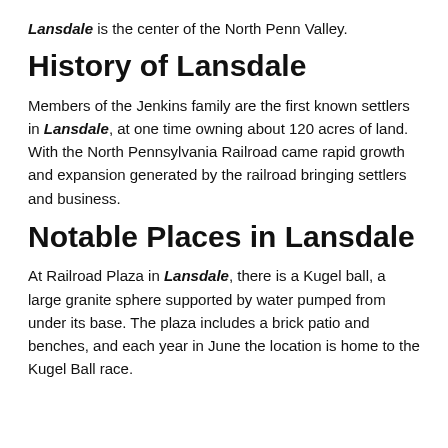Lansdale is the center of the North Penn Valley.
History of Lansdale
Members of the Jenkins family are the first known settlers in Lansdale, at one time owning about 120 acres of land. With the North Pennsylvania Railroad came rapid growth and expansion generated by the railroad bringing settlers and business.
Notable Places in Lansdale
At Railroad Plaza in Lansdale, there is a Kugel ball, a large granite sphere supported by water pumped from under its base. The plaza includes a brick patio and benches, and each year in June the location is home to the Kugel Ball race.